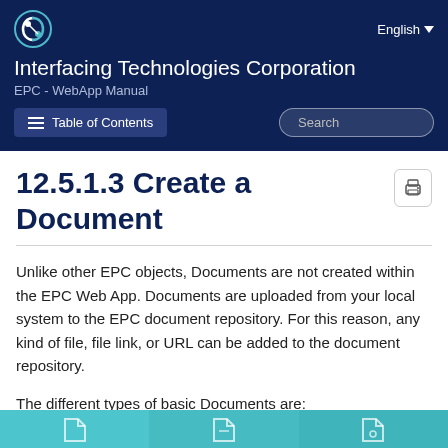Interfacing Technologies Corporation — EPC - WebApp Manual
12.5.1.3 Create a Document
Unlike other EPC objects, Documents are not created within the EPC Web App. Documents are uploaded from your local system to the EPC document repository. For this reason, any kind of file, file link, or URL can be added to the document repository.
The different types of basic Documents are:
[Figure (illustration): Teal/cyan banner at the bottom showing three sections with white document icons, representing the different types of basic documents.]